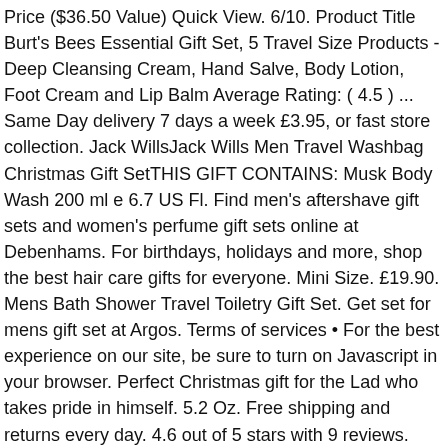Price ($36.50 Value) Quick View. 6/10. Product Title Burt's Bees Essential Gift Set, 5 Travel Size Products - Deep Cleansing Cream, Hand Salve, Body Lotion, Foot Cream and Lip Balm Average Rating: ( 4.5 ) ... Same Day delivery 7 days a week £3.95, or fast store collection. Jack WillsJack Wills Men Travel Washbag Christmas Gift SetTHIS GIFT CONTAINS: Musk Body Wash 200 ml e 6.7 US Fl. Find men's aftershave gift sets and women's perfume gift sets online at Debenhams. For birthdays, holidays and more, shop the best hair care gifts for everyone. Mini Size. £19.90. Mens Bath Shower Travel Toiletry Gift Set. Get set for mens gift set at Argos. Terms of services • For the best experience on our site, be sure to turn on Javascript in your browser. Perfect Christmas gift for the Lad who takes pride in himself. 5.2 Oz. Free shipping and returns every day. 4.6 out of 5 stars with 9 reviews. Make offer – Dove Men+Care Tin Gift Set Travel Size 2 X Body & Face Wash And Deodorant. 86. Dove Perfect Pampering Duo Gift Set with Bath Puff Brand New. We've created gift sets for every once a year event and absolutely everyone on your list at a great price (hello, savings).